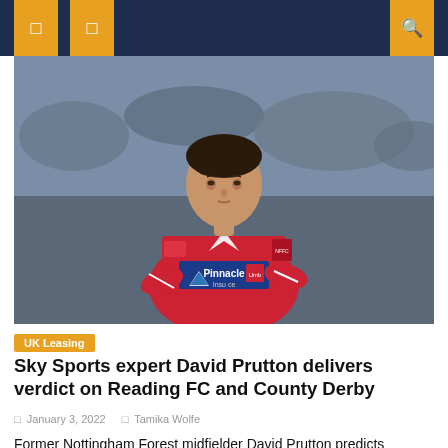UK Leasing news site header with navigation icons
[Figure (photo): A football player wearing a red Nottingham Forest jersey with Pinnacle Insurance sponsor, dark hair, looking to the right, stadium crowd in background.]
UK Leasing
Sky Sports expert David Prutton delivers verdict on Reading FC and County Derby
January 3, 2022   Tamika Wolfe
Former Nottingham Forest midfielder David Prutton predicts Reading FC will start 2022 with a loss to Derby County. The Royals have not played since December 11 after canceling